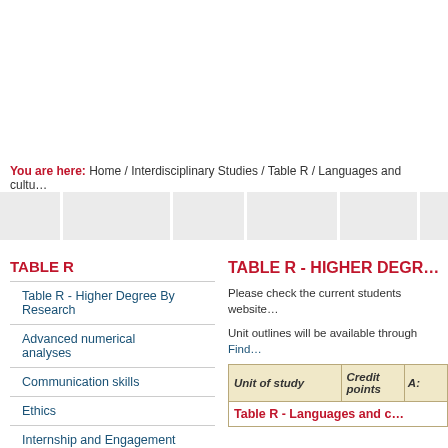You are here: Home / Interdisciplinary Studies / Table R / Languages and cultural contexts
[Figure (other): Navigation tab bar with 6 grey tab buttons]
TABLE R
Table R - Higher Degree By Research
Advanced numerical analyses
Communication skills
Ethics
Internship and Engagement
Languages and cultural contexts
TABLE R - HIGHER DEGR…
Please check the current students website…
Unit outlines will be available through Find…
| Unit of study | Credit points | A: |
| --- | --- | --- |
Table R - Languages and c…